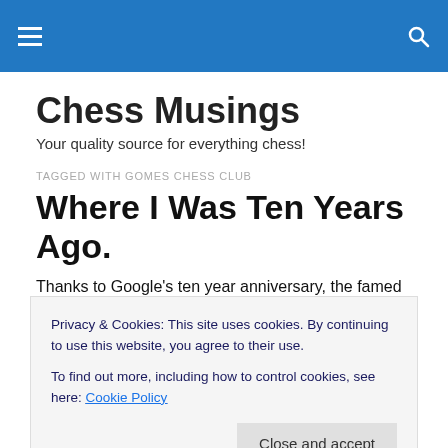Chess Musings [navigation bar with hamburger menu and search icon]
Chess Musings
Your quality source for everything chess!
TAGGED WITH GOMES CHESS CLUB
Where I Was Ten Years Ago.
Privacy & Cookies: This site uses cookies. By continuing to use this website, you agree to their use.
To find out more, including how to control cookies, see here: Cookie Policy
of my chess activities from ten years ago taken directly